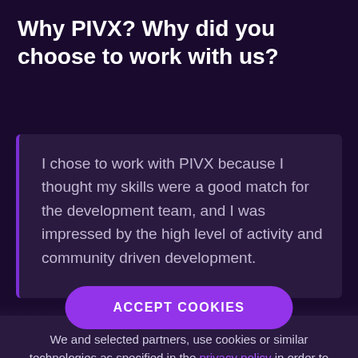Why PIVX? Why did you choose to work with us?
I chose to work with PIVX because I thought my skills were a good match for the development team, and I was impressed by the high level of activity and community driven development
We and selected partners, use cookies or similar technologies as specified in the privacy policy in order to deliver the best browsing experience for you. You can consent to the use of such technologies by closing this notice, by interacting with any link or button outside of this notice or by continuing to browse otherwise.
ACCEPT COOKIES